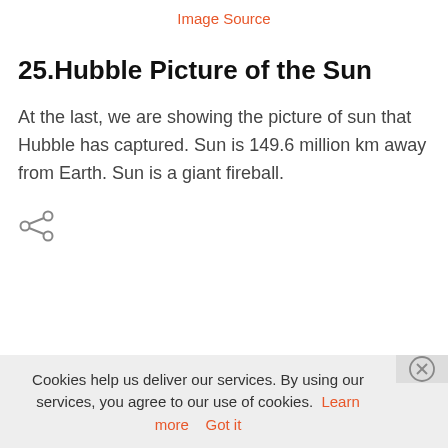Image Source
25.Hubble Picture of the Sun
At the last, we are showing the picture of sun that Hubble has captured. Sun is 149.6 million km away from Earth. Sun is a giant fireball.
[Figure (other): Share icon (network share symbol)]
Cookies help us deliver our services. By using our services, you agree to our use of cookies. Learn more  Got it